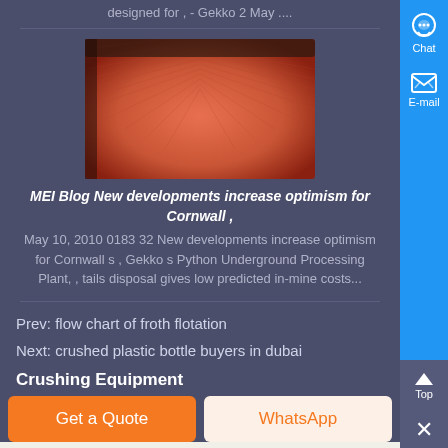designed for , - Gekko 2 May ....
[Figure (photo): Close-up photo of a reddish-orange textured surface, possibly a mining or processing screen/mesh material]
MEI Blog New developments increase optimism for Cornwall ,
May 10, 2010 0183 32 New developments increase optimism for Cornwall s , Gekko s Python Underground Processing Plant, , tails disposal gives low predicted in-mine costs...
Prev: flow chart of froth flotation
Next: crushed plastic bottle buyers in dubai
Crushing Equipment